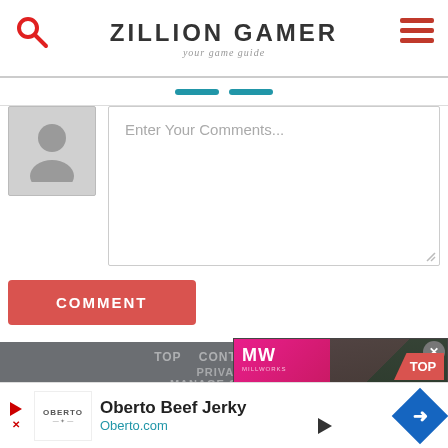ZILLION GAMER — your game guide
[Figure (screenshot): Comment input area with avatar placeholder and text field saying 'Enter Your Comments...']
COMMENT
TOP  CONTACT  PRIVACY  MANAGE COOKIES  ZILLION GAMER  Copyright © 2020 zilliongamer.com
[Figure (screenshot): Video overlay showing FIFA 23 Release Date thumbnail with MW logo and play button]
[Figure (screenshot): Advertisement banner: Oberto Beef Jerky — Oberto.com]